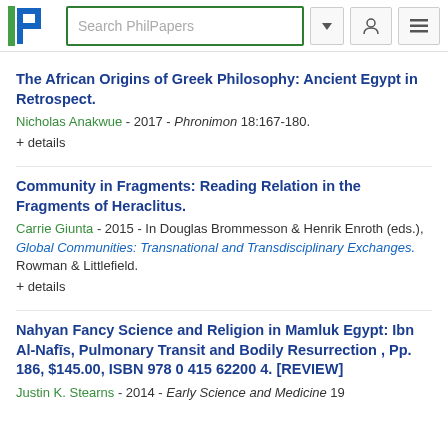Search PhilPapers
The African Origins of Greek Philosophy: Ancient Egypt in Retrospect.
Nicholas Anakwue - 2017 - Phronimon 18:167-180.
+ details
Community in Fragments: Reading Relation in the Fragments of Heraclitus.
Carrie Giunta - 2015 - In Douglas Brommesson & Henrik Enroth (eds.), Global Communities: Transnational and Transdisciplinary Exchanges. Rowman & Littlefield.
+ details
Nahyan Fancy Science and Religion in Mamluk Egypt: Ibn Al-Nafīs, Pulmonary Transit and Bodily Resurrection , Pp. 186, $145.00, ISBN 978 0 415 62200 4. [REVIEW]
Justin K. Stearns - 2014 - Early Science and Medicine 19